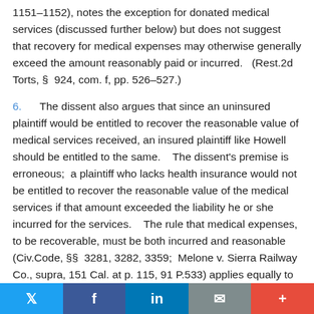1151–1152), notes the exception for donated medical services (discussed further below) but does not suggest that recovery for medical expenses may otherwise generally exceed the amount reasonably paid or incurred.   (Rest.2d Torts, §  924, com. f, pp. 526–527.)
6.      The dissent also argues that since an uninsured plaintiff would be entitled to recover the reasonable value of medical services received, an insured plaintiff like Howell should be entitled to the same.    The dissent's premise is erroneous;  a plaintiff who lacks health insurance would not be entitled to recover the reasonable value of the medical services if that amount exceeded the liability he or she incurred for the services.    The rule that medical expenses, to be recoverable, must be both incurred and reasonable (Civ.Code, §§  3281, 3282, 3359;  Melone v. Sierra Railway Co., supra, 151 Cal. at p. 115, 91 P.533) applies equally to
Social share bar: Twitter, Facebook, LinkedIn, Email, Plus